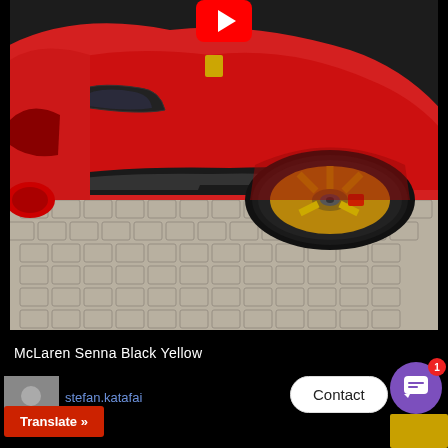[Figure (screenshot): Screenshot of a video page showing a red Ferrari with gold wheels on cobblestones. A YouTube play button is visible at the top center of the video thumbnail.]
McLaren Senna Black Yellow
[Figure (photo): Small avatar/profile picture thumbnail in gray]
stefan.katafai
Translate »
Contact